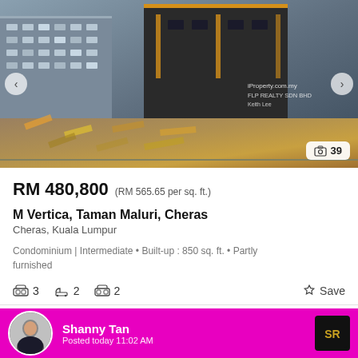[Figure (photo): Exterior photo of M Vertica condominium building in Cheras showing modern architecture with colorful pedestrian area. Watermark: iProperty.com.my, FLP REALTY SDN BHD, Keith Lee. Photo count: 39.]
RM 480,800 (RM 565.65 per sq. ft.)
M Vertica, Taman Maluri, Cheras
Cheras, Kuala Lumpur
Condominium | Intermediate • Built-up : 850 sq. ft. • Partly furnished
3 bedrooms  2 bathrooms  2 car parks  Save
Call agent  View details >
Shanny Tan  Posted today 11:02 AM